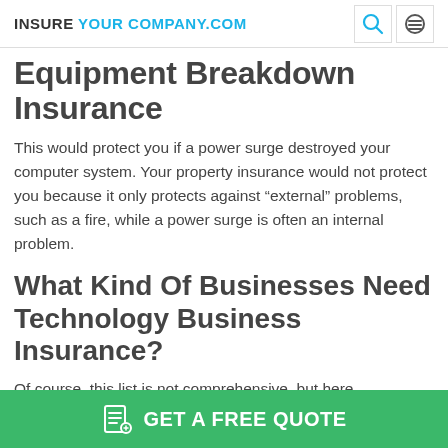INSURE YOUR COMPANY.COM
Equipment Breakdown Insurance
This would protect you if a power surge destroyed your computer system. Your property insurance would not protect you because it only protects against “external” problems, such as a fire, while a power surge is often an internal problem.
What Kind Of Businesses Need Technology Business Insurance?
Of course, this list is not comprehensive, but here
GET A FREE QUOTE